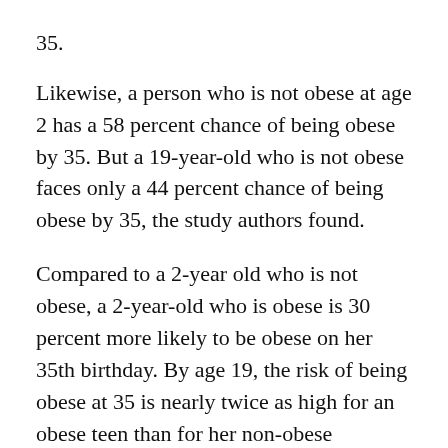35.
Likewise, a person who is not obese at age 2 has a 58 percent chance of being obese by 35. But a 19-year-old who is not obese faces only a 44 percent chance of being obese by 35, the study authors found.
Compared to a 2-year old who is not obese, a 2-year-old who is obese is 30 percent more likely to be obese on her 35th birthday. By age 19, the risk of being obese at 35 is nearly twice as high for an obese teen than for her non-obese counterpart.
Not surprisingly, the heaviest children face the